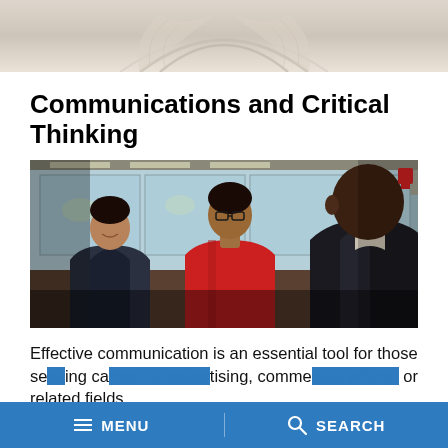[Figure (photo): Header banner showing an open book with architectural arch, muted warm tones]
Communications and Critical Thinking
[Figure (photo): Three men in conversation inside a modern building lobby — one in dark jacket smiling, one in red shirt with glasses, one in dark jacket facing away from camera]
Effective communication is an essential tool for those se... advertising, comme... or related fields.
MENU   SEARCH